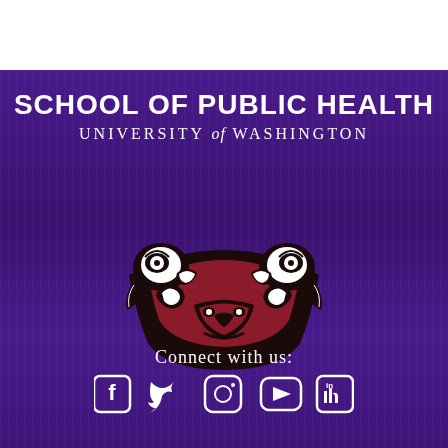SCHOOL OF PUBLIC HEALTH
UNIVERSITY of WASHINGTON
[Figure (logo): Northwest Coast Native American style totem/crest art in black, white, and dark red/maroon, shaped like a crescent or smiling mouth with stylized animal/bird faces]
Connect with us:
[Figure (illustration): Social media icons: Facebook, Twitter, Instagram, YouTube, LinkedIn — all in white]